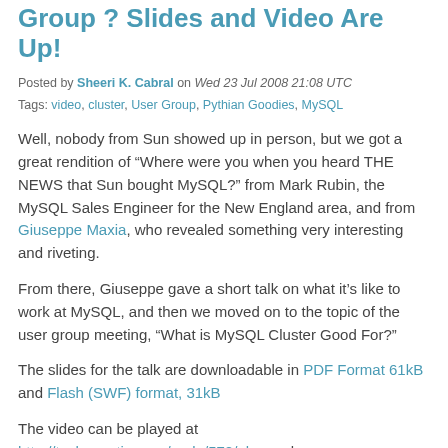Group ? Slides and Video Are Up!
Posted by Sheeri K. Cabral on Wed 23 Jul 2008 21:08 UTC
Tags: video, cluster, User Group, Pythian Goodies, MySQL
Well, nobody from Sun showed up in person, but we got a great rendition of “Where were you when you heard THE NEWS that Sun bought MySQL?” from Mark Rubin, the MySQL Sales Engineer for the New England area, and from Giuseppe Maxia, who revealed something very interesting and riveting.
From there, Giuseppe gave a short talk on what it’s like to work at MySQL, and then we moved on to the topic of the user group meeting, “What is MySQL Cluster Good For?”
The slides for the talk are downloadable in PDF Format 61kB and Flash (SWF) format, 31kB
The video can be played at http://technocation.org/node/572/play and …